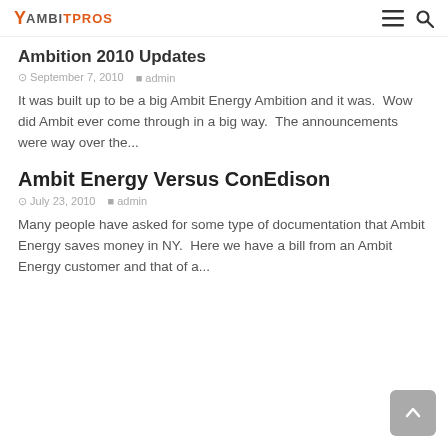AmbitPros
Ambition 2010 Updates
September 7, 2010   admin
It was built up to be a big Ambit Energy Ambition and it was.  Wow did Ambit ever come through in a big way.  The announcements were way over the...
Ambit Energy Versus ConEdison
July 23, 2010   admin
Many people have asked for some type of documentation that Ambit Energy saves money in NY.  Here we have a bill from an Ambit Energy customer and that of a...